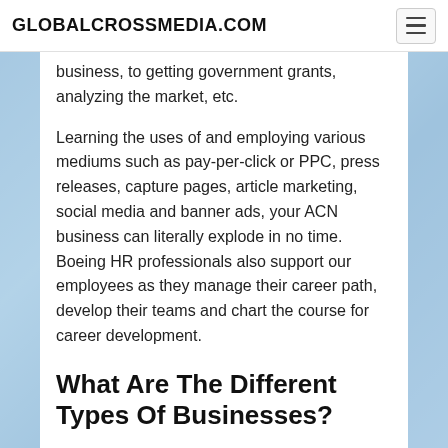GLOBALCROSSMEDIA.COM
business, to getting government grants, analyzing the market, etc.
Learning the uses of and employing various mediums such as pay-per-click or PPC, press releases, capture pages, article marketing, social media and banner ads, your ACN business can literally explode in no time. Boeing HR professionals also support our employees as they manage their career path, develop their teams and chart the course for career development.
What Are The Different Types Of Businesses?